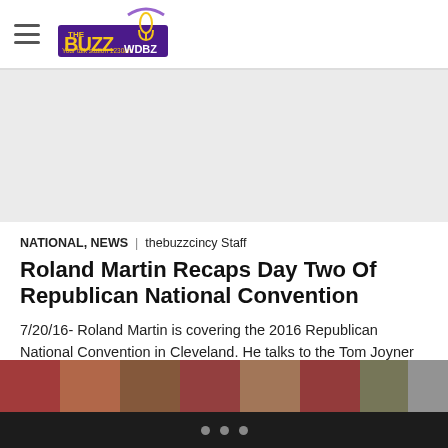THE BUZZ WDBZ — Your talk station 1230am
[Figure (other): Advertisement / blank gray area]
NATIONAL, NEWS | thebuzzcincy Staff
Roland Martin Recaps Day Two Of Republican National Convention
7/20/16- Roland Martin is covering the 2016 Republican National Convention in Cleveland. He talks to the Tom Joyner Morning Show about Melania's plagiarism, Trump's trust fund babies, Chris Christie's donuts and much more.
[Figure (photo): Partial image strip of people at the bottom of the article]